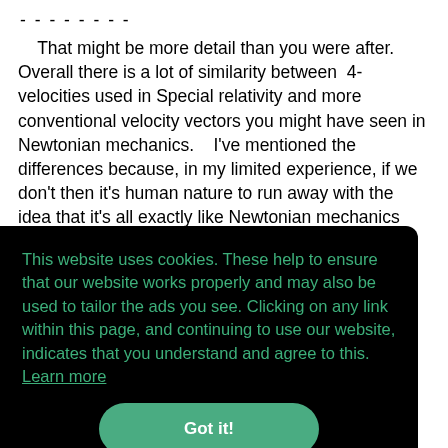- - - - - - - -
    That might be more detail than you were after. Overall there is a lot of similarity between 4-velocities used in Special relativity and more conventional velocity vectors you might have seen in Newtonian mechanics.    I've mentioned the differences because, in my limited experience, if we don't then it's human nature to run away with the idea that it's all exactly like Newtonian mechanics
This website uses cookies. These help to ensure that our website works properly and may also be used to tailor the ads you see. Clicking on any link within this page, and continuing to use our website, indicates that you understand and agree to this.  Learn more
Got it!
vector) has all of its velocity in the time component